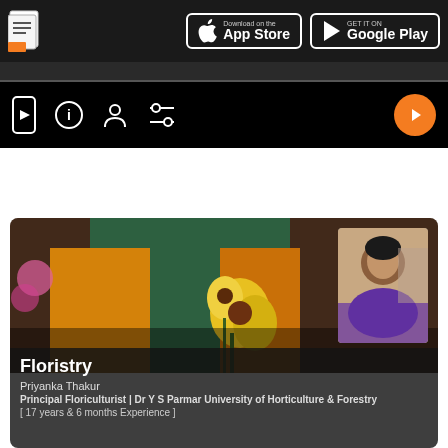[Figure (screenshot): App header bar with document icon and App Store / Google Play download buttons on dark background]
[Figure (screenshot): Navigation bar with icons: mobile with play, info circle, person, settings/sliders, and orange play button on right]
[Figure (photo): Floristry course card showing florist holding sunflowers in green apron over yellow shirt background, with instructor portrait of Priyanka Thakur in top right corner]
Floristry
Priyanka Thakur
Principal Floriculturist | Dr Y S Parmar University of Horticulture & Forestry
[ 17 years & 6 months Experience ]